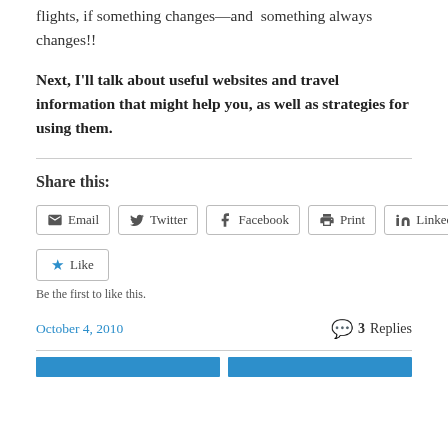flights, if something changes—and something always changes!!
Next, I'll talk about useful websites and travel information that might help you, as well as strategies for using them.
Share this:
Email  Twitter  Facebook  Print  LinkedIn
Like
Be the first to like this.
October 4, 2010    3 Replies
[Figure (other): Two blue navigation blocks at the bottom of the page]